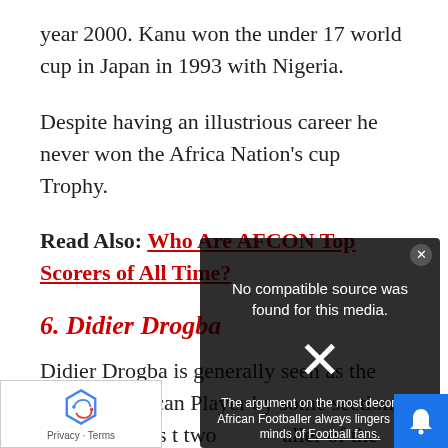year 2000. Kanu won the under 17 world cup in Japan in 1993 with Nigeria.
Despite having an illustrious career he never won the Africa Nation's cup Trophy.
Read Also: Who Are AFCON Top Scorers of All Time?
6. Didier Drogba
Didier Drogba is generally seen as the Greatest African Player by some sections of Football, as the argument on the most decorated African Footballer always lingers in the minds of Football fans.